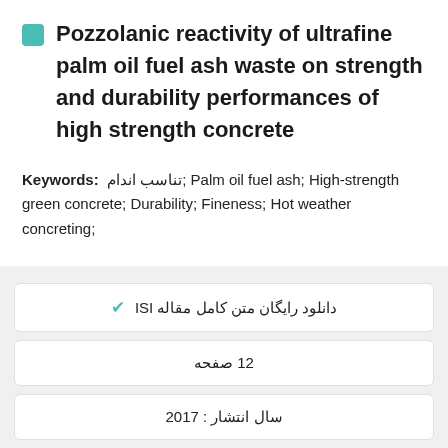Pozzolanic reactivity of ultrafine palm oil fuel ash waste on strength and durability performances of high strength concrete
Keywords: تناسب اندام; Palm oil fuel ash; High-strength green concrete; Durability; Fineness; Hot weather concreting;
✔ دانلود رایگان متن کامل مقاله ISI
12 صفحه
سال انتشار : 2017